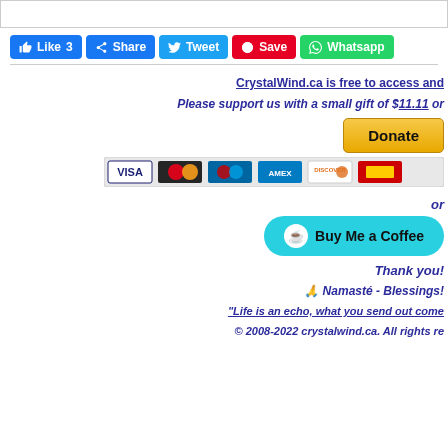[Figure (screenshot): Social share buttons: Like 3 (Facebook blue), Share (Facebook blue), Tweet (Twitter blue), Save (Pinterest red), Whatsapp (green)]
CrystalWind.ca is free to access and
Please support us with a small gift of $11.11 or
[Figure (other): PayPal Donate button (yellow/gold) with credit card icons: Visa, Mastercard, Maestro, Amex, Discover, and another card]
or
[Figure (other): Buy Me a Coffee button (cyan/teal) with coffee cup icon]
Thank you!
🙏 Namasté - Blessings!
"Life is an echo, what you send out come
© 2008-2022 crystalwind.ca. All rights re